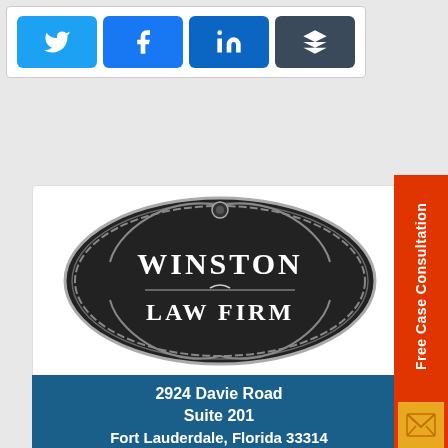[Figure (other): Social media share buttons: Twitter (blue), Facebook (blue), LinkedIn (blue), Buffer (dark gray)]
[Figure (logo): Winston Law Firm ornate oval logo in black and silver with decorative scrollwork]
2924 Davie Road
Suite 201
Fort Lauderdale, Florida 33314
[Figure (other): Red vertical sidebar with 'Free Case Consultation' text rotated 90 degrees and envelope icon]